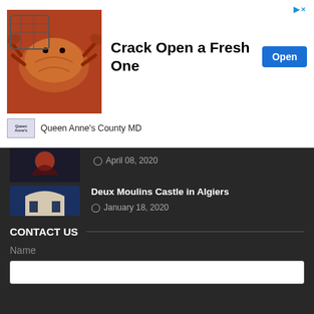[Figure (screenshot): Advertisement banner for Queen Anne's County MD crab promotion with image of crabs, headline 'Crack Open a Fresh One', and Open button]
April 08, 2020
Deux Moulins Castle in Algiers
January 18, 2020
Ministry of National Defence Set up a new mobile application
January 12, 2020
CONTACT US
Name